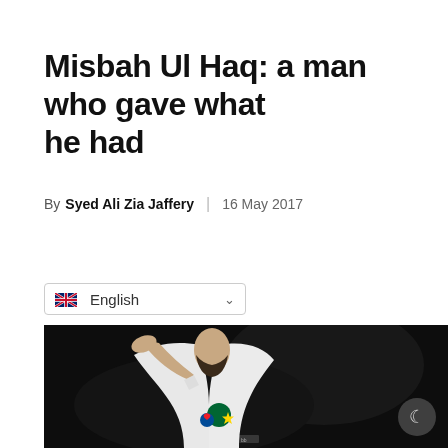Misbah Ul Haq: a man who gave what he had
By Syed Ali Zia Jaffery | 16 May 2017
[Figure (other): Language selector dropdown showing UK flag and 'English' with a chevron]
[Figure (photo): Misbah Ul Haq in white Pakistan cricket jersey doing a salute gesture against a dark background, with a crescent moon icon button in the bottom right corner]